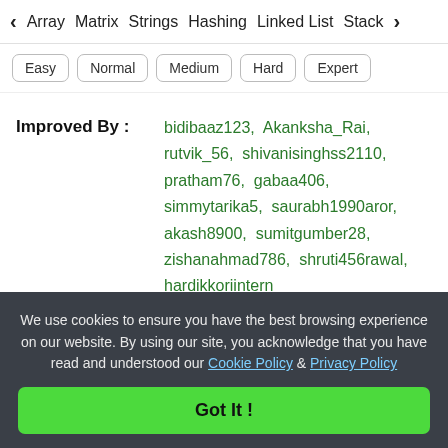< Array   Matrix   Strings   Hashing   Linked List   Stack >
Easy
Normal
Medium
Hard
Expert
Improved By : bidibaaz123,  Akanksha_Rai,  rutvik_56,  shivanisinghss2110,  pratham76,  gabaa406,  simmytarika5,  saurabh1990aror,  akash8900,  sumitgumber28,  zishanahmad786,  shruti456rawal,  hardikkoriintern
Article Tags : 24*7 Innovation Labs ,  Accolite ,
We use cookies to ensure you have the best browsing experience on our website. By using our site, you acknowledge that you have read and understood our Cookie Policy & Privacy Policy
Got It !